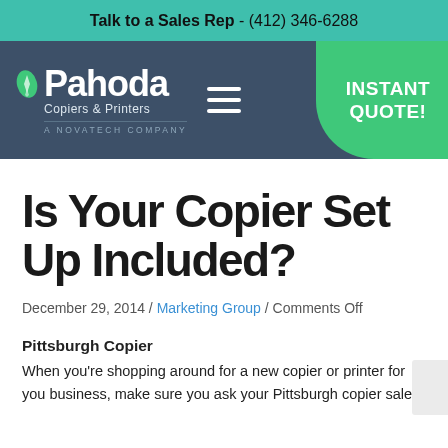Talk to a Sales Rep - (412) 346-6288
[Figure (logo): Pahoda Copiers & Printers logo with navigation bar including hamburger menu and Instant Quote button]
Is Your Copier Set Up Included?
December 29, 2014 / Marketing Group / Comments Off
Pittsburgh Copier
When you're shopping around for a new copier or printer for you business, make sure you ask your Pittsburgh copier sales